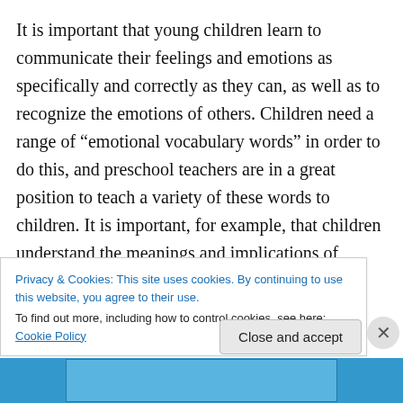It is important that young children learn to communicate their feelings and emotions as specifically and correctly as they can, as well as to recognize the emotions of others. Children need a range of “emotional vocabulary words” in order to do this, and preschool teachers are in a great position to teach a variety of these words to children. It is important, for example, that children understand the meanings and implications of words such as frustrated, proud, afraid, excited, worried, and confused. Teachers can model the appropriate use of these feeling words by
Privacy & Cookies: This site uses cookies. By continuing to use this website, you agree to their use.
To find out more, including how to control cookies, see here: Cookie Policy
Close and accept